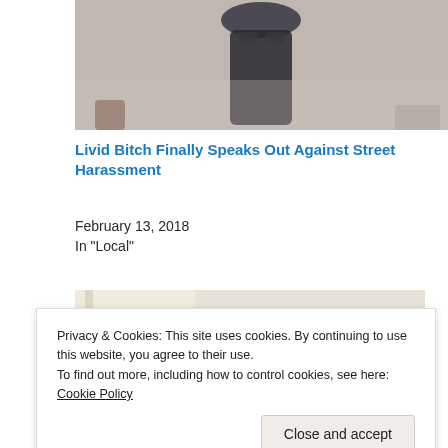[Figure (photo): Photo of a person crouching on a floor, viewed from low angle, dark clothing]
Livid Bitch Finally Speaks Out Against Street Harassment
February 13, 2018
In "Local"
[Figure (photo): Photo of a blonde woman leaning on a laptop, resting her head on her hand]
Privacy & Cookies: This site uses cookies. By continuing to use this website, you agree to their use.
To find out more, including how to control cookies, see here: Cookie Policy
Close and accept
Tests